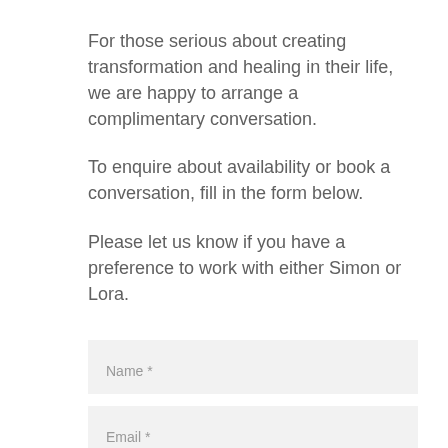For those serious about creating transformation and healing in their life, we are happy to arrange a complimentary conversation.
To enquire about availability or book a conversation, fill in the form below.
Please let us know if you have a preference to work with either Simon or Lora.
Name *
Email *